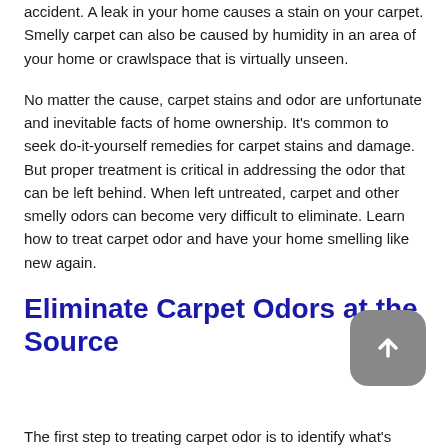accident. A leak in your home causes a stain on your carpet. Smelly carpet can also be caused by humidity in an area of your home or crawlspace that is virtually unseen.
No matter the cause, carpet stains and odor are unfortunate and inevitable facts of home ownership. It's common to seek do-it-yourself remedies for carpet stains and damage. But proper treatment is critical in addressing the odor that can be left behind. When left untreated, carpet and other smelly odors can become very difficult to eliminate. Learn how to treat carpet odor and have your home smelling like new again.
Eliminate Carpet Odors at the Source
The first step to treating carpet odor is to identify what's